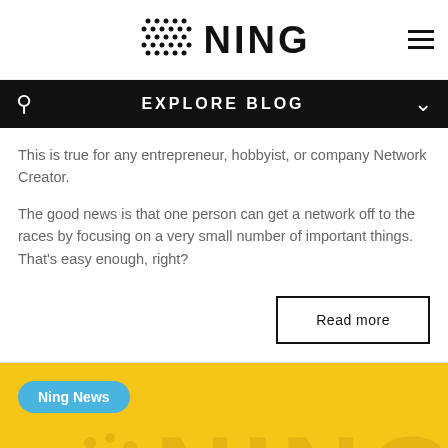NING
EXPLORE BLOG
This is true for any entrepreneur, hobbyist, or company Network Creator.
The good news is that one person can get a network off to the races by focusing on a very small number of important things. That’s easy enough, right?
Read more
[Figure (logo): Yellow card with Ning News badge and NING watermark logo on golden yellow background]